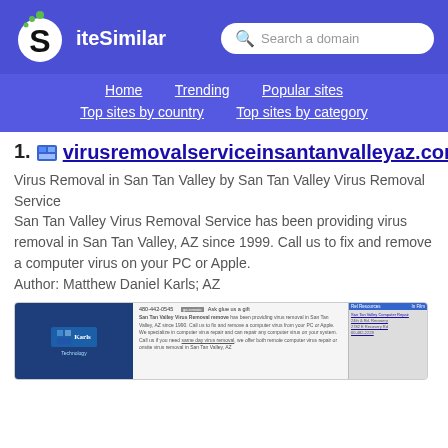[Figure (logo): SiteSimilar logo with stylized S and green dots, white text on purple background header with search box]
Home   Trending   Popular sites   Top sites by country   Top sites by category
1. virusremovalserviceinsantanvalleyaz.com
Virus Removal in San Tan Valley by San Tan Valley Virus Removal Service
San Tan Valley Virus Removal Service has been providing virus removal in San Tan Valley, AZ since 1999. Call us to fix and remove a computer virus on your PC or Apple.
Author: Matthew Daniel Karls; AZ
[Figure (screenshot): Screenshot thumbnail of virusremovalserviceinsantanvalleyaz.com showing Karls Technology logo, phone number 480-442-0545, and website content about San Tan Valley Virus Removal Service]